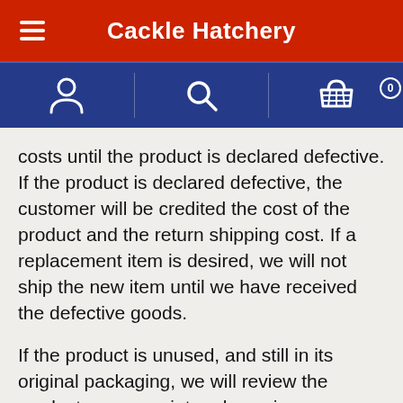Cackle Hatchery
costs until the product is declared defective. If the product is declared defective, the customer will be credited the cost of the product and the return shipping cost. If a replacement item is desired, we will not ship the new item until we have received the defective goods.
If the product is unused, and still in its original packaging, we will review the product upon receipt and may issue a credit, minus 20% restocking fee. The customer is responsible for return shipping cost. Special and custom orders are not returnable.